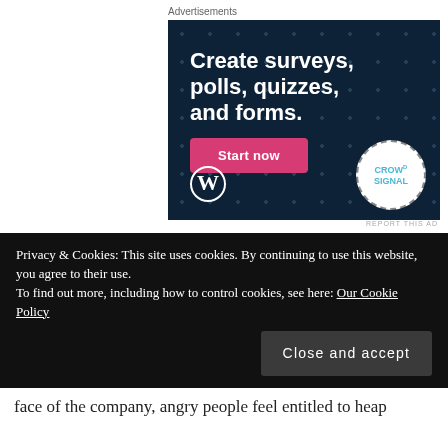Advertisements
[Figure (illustration): Advertisement for CrowdSignal / WordPress: dark navy background with dot pattern. Large white bold text reads 'Create surveys, polls, quizzes, and forms.' A pink 'Start now' button appears below. WordPress logo (W in circle) bottom left. CrowdSignal logo in white dashed circle bottom right.]
REPORT THIS AD
Privacy & Cookies: This site uses cookies. By continuing to use this website, you agree to their use.
To find out more, including how to control cookies, see here: Our Cookie Policy
Close and accept
face of the company, angry people feel entitled to heap